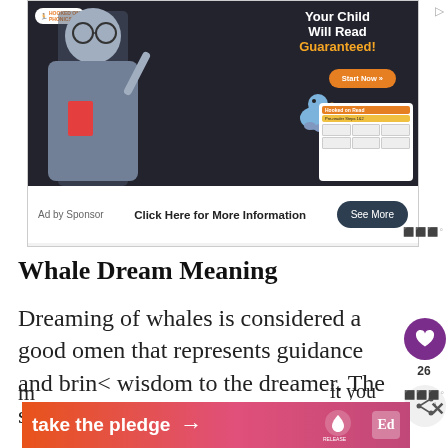[Figure (photo): Hooked on Phonics advertisement featuring a child with glasses pointing upward, a bird, and phonics product cards. Text reads 'Your Child Will Read Guaranteed! Start Now >>']
Click Here for More Information
Ad by Sponsor
See More
Whale Dream Meaning
Dreaming of whales is considered a good omen that represents guidance and brings wisdom to the dreamer. The sacred m...it...you
[Figure (infographic): Bottom banner ad reading 'take the pledge' with arrow, Release logo, and EdSurge icon]